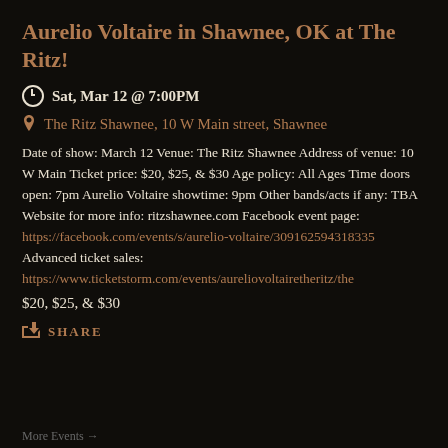Aurelio Voltaire in Shawnee, OK at The Ritz!
Sat, Mar 12 @ 7:00PM
The Ritz Shawnee, 10 W Main street, Shawnee
Date of show: March 12 Venue: The Ritz Shawnee Address of venue: 10 W Main Ticket price: $20, $25, & $30 Age policy: All Ages Time doors open: 7pm Aurelio Voltaire showtime: 9pm Other bands/acts if any: TBA Website for more info: ritzshawnee.com Facebook event page: https://facebook.com/events/s/aurelio-voltaire/309162594318335 Advanced ticket sales: https://www.ticketstorm.com/events/aureliovoltairetheritz/the
$20, $25, & $30
SHARE